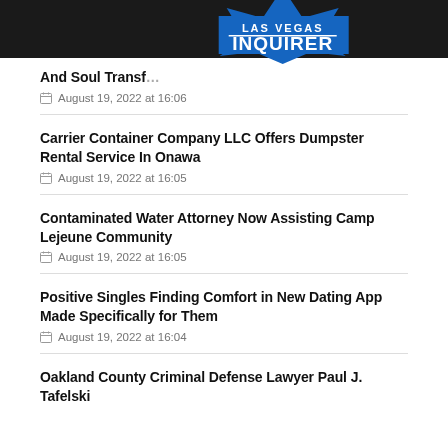LAS VEGAS INQUIRER
And Soul Transf…
August 19, 2022 at 16:06
Carrier Container Company LLC Offers Dumpster Rental Service In Onawa
August 19, 2022 at 16:05
Contaminated Water Attorney Now Assisting Camp Lejeune Community
August 19, 2022 at 16:05
Positive Singles Finding Comfort in New Dating App Made Specifically for Them
August 19, 2022 at 16:04
Oakland County Criminal Defense Lawyer Paul J. Tafelski